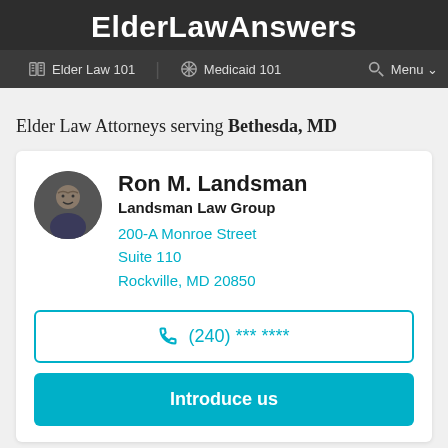ElderLawAnswers
Elder Law 101  Medicaid 101  Menu
Elder Law Attorneys serving Bethesda, MD
Ron M. Landsman
Landsman Law Group
200-A Monroe Street
Suite 110
Rockville, MD 20850
(240) *** ****
Introduce us